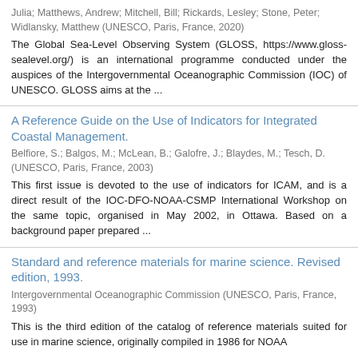Julia; Matthews, Andrew; Mitchell, Bill; Rickards, Lesley; Stone, Peter; Widlansky, Matthew (UNESCO, Paris, France, 2020)
The Global Sea-Level Observing System (GLOSS, https://www.gloss-sealevel.org/) is an international programme conducted under the auspices of the Intergovernmental Oceanographic Commission (IOC) of UNESCO. GLOSS aims at the ...
A Reference Guide on the Use of Indicators for Integrated Coastal Management.
Belfiore, S.; Balgos, M.; McLean, B.; Galofre, J.; Blaydes, M.; Tesch, D. (UNESCO, Paris, France, 2003)
This first issue is devoted to the use of indicators for ICAM, and is a direct result of the IOC-DFO-NOAA-CSMP International Workshop on the same topic, organised in May 2002, in Ottawa. Based on a background paper prepared ...
Standard and reference materials for marine science. Revised edition, 1993.
Intergovernmental Oceanographic Commission (UNESCO, Paris, France, 1993)
This is the third edition of the catalog of reference materials suited for use in marine science, originally compiled in 1986 for NOAA...